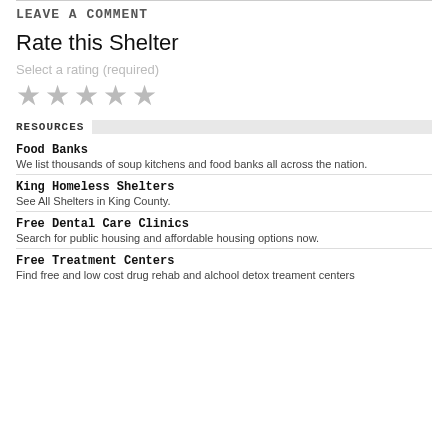LEAVE A COMMENT
Rate this Shelter
Select a rating (required)
[Figure (other): Five empty/unselected star rating icons in gray]
RESOURCES
Food Banks
We list thousands of soup kitchens and food banks all across the nation.
King Homeless Shelters
See All Shelters in King County.
Free Dental Care Clinics
Search for public housing and affordable housing options now.
Free Treatment Centers
Find free and low cost drug rehab and alchool detox treament centers